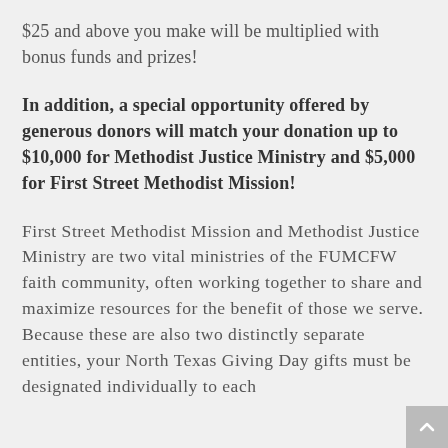$25 and above you make will be multiplied with bonus funds and prizes!
In addition, a special opportunity offered by generous donors will match your donation up to $10,000 for Methodist Justice Ministry and $5,000 for First Street Methodist Mission!
First Street Methodist Mission and Methodist Justice Ministry are two vital ministries of the FUMCFW faith community, often working together to share and maximize resources for the benefit of those we serve. Because these are also two distinctly separate entities, your North Texas Giving Day gifts must be designated individually to each